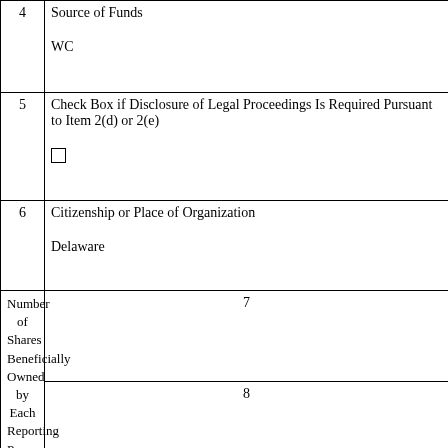| 4 | Source of Funds

WC |
| 5 | Check Box if Disclosure of Legal Proceedings Is Required Pursuant to Item 2(d) or 2(e)

[checkbox] |
| 6 | Citizenship or Place of Organization

Delaware |
| Number of Shares Beneficially Owned by Each Reporting Person With | 7 | Sole Voting Power

5,014,511 |
|  | 8 | Shared Voting Power

0 |
|  | 9 | Sole Dispositive Power

5,014,511 |
|  | 10 | Shared Dispositive Power |